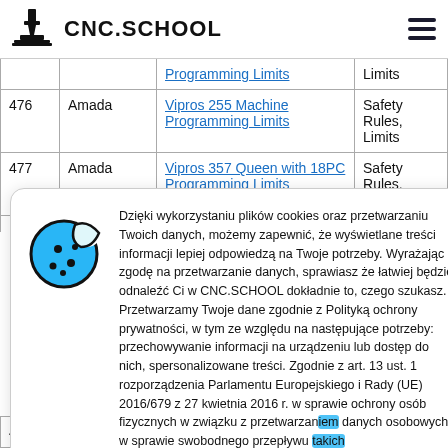CNC.SCHOOL
| # | Brand | Document | Type |
| --- | --- | --- | --- |
|  |  | Programming Limits | Limits |
| 476 | Amada | Vipros 255 Machine Programming Limits | Safety Rules, Limits |
| 477 | Amada | Vipros 357 Queen with 18PC Programming Limits | Safety Rules, Limits |
| 481 | Amada | This Turret Configuration | Turret Manual |
Dzięki wykorzystaniu plików cookies oraz przetwarzaniu Twoich danych, możemy zapewnić, że wyświetlane treści informacji lepiej odpowiedzą na Twoje potrzeby. Wyrażając zgodę na przetwarzanie danych, sprawiasz że łatwiej będzie odnaleźć Ci w CNC.SCHOOL dokładnie to, czego szukasz. Przetwarzamy Twoje dane zgodnie z Polityką ochrony prywatności, w tym ze względu na następujące potrzeby: przechowywanie informacji na urządzeniu lub dostęp do nich, spersonalizowane treści. Zgodnie z art. 13 ust. 1 rozporządzenia Parlamentu Europejskiego i Rady (UE) 2016/679 z 27 kwietnia 2016 r. w sprawie ochrony osób fizycznych w związku z przetwarzaniem danych osobowych i w sprawie swobodnego przepływu takich danych oraz uchylenia dyrektywy 95/46WE (ogólno